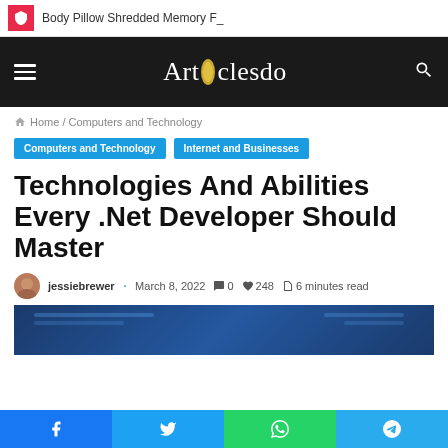Body Pillow Shredded Memory F_
Articlesdo
Home / Computers and Technology
Computers and Technology
Internet and Businesses
Technologies And Abilities Every .Net Developer Should Master
jessiebrewer · March 8, 2022 · 0 · 248 · 6 minutes read
[Figure (screenshot): Dark blue code editor screenshot showing programming code]